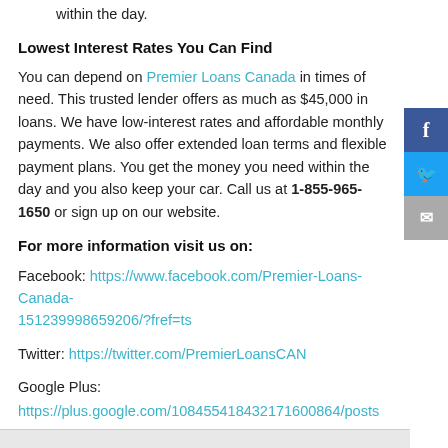apply for this loan. You can also get the money you need within the day.
Lowest Interest Rates You Can Find
You can depend on Premier Loans Canada in times of need. This trusted lender offers as much as $45,000 in loans. We have low-interest rates and affordable monthly payments. We also offer extended loan terms and flexible payment plans. You get the money you need within the day and you also keep your car. Call us at 1-855-965-1650 or sign up on our website.
For more information visit us on:
Facebook: https://www.facebook.com/Premier-Loans-Canada-151239998659206/?fref=ts
Twitter: https://twitter.com/PremierLoansCAN
Google Plus: https://plus.google.com/108455418432171600864/posts